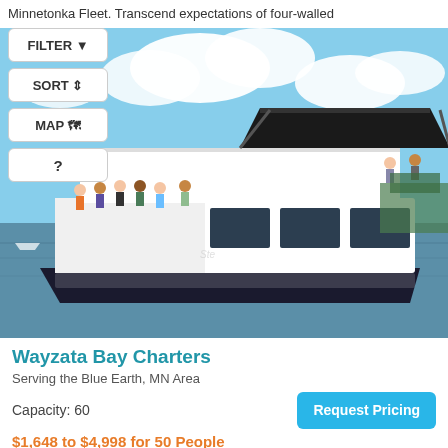Minnetonka Fleet. Transcend expectations of four-walled
FILTER
Boat/Yacht
SORT
MAP
?
[Figure (photo): A white motor yacht on Lake Minnetonka with a group of people on the bow deck, sunny day with blue sky and clouds]
Wayzata Bay Charters
Serving the Blue Earth, MN Area
Capacity: 60
Request Pricing
$1,648 to $4,998 for 50 People
Enjoy a beautiful day cruising Lake Minnetonka! Our 60 Foot